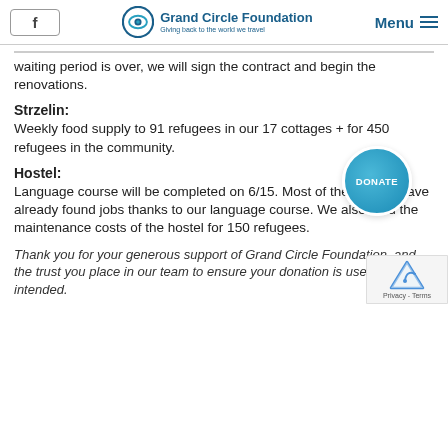f | Grand Circle Foundation | Menu
waiting period is over, we will sign the contract and begin the renovations.
Strzelin:
Weekly food supply to 91 refugees in our 17 cottages + for 450 refugees in the community.
Hostel:
Language course will be completed on 6/15. Most of the women have already found jobs thanks to our language course. We also fund the maintenance costs of the hostel for 150 refugees.
Thank you for your generous support of Grand Circle Foundation, and the trust you place in our team to ensure your donation is used as intended.